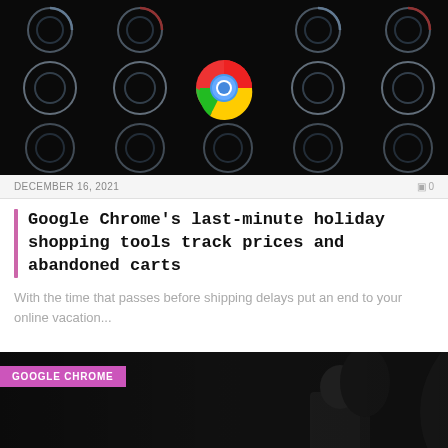[Figure (photo): Dark background with repeating Chrome browser logo outlines in chrome/neon style, with one colorful Google Chrome icon in the center]
DECEMBER 16, 2021
0
Google Chrome's last-minute holiday shopping tools track prices and abandoned carts
With the time that passes before shipping delays put an end to your online vacation...
[Figure (photo): Dark outdoor photo with a person visible, tagged with GOOGLE CHROME badge]